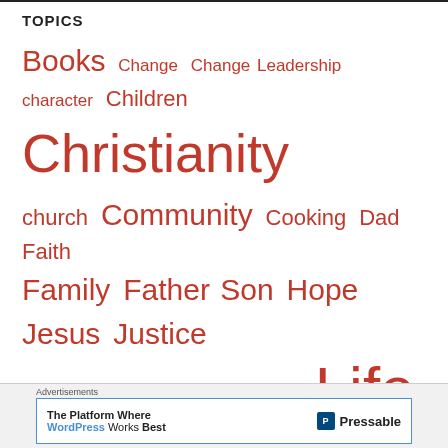TOPICS
Books Change Change Leadership character Children Christianity church Community Cooking Dad Faith Family Father Son Hope Jesus Justice Kingdom Leadership Life Living Parenting Pastoral Leadership Poetry Prayer Reform Religion Shalom Suffering Transformation Worship
Advertisements
The Platform Where WordPress Works Best — Pressable